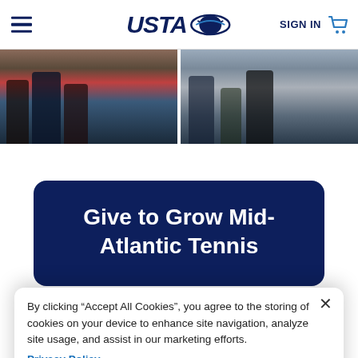USTA | SIGN IN
[Figure (photo): Two side-by-side cropped photos of people at a tennis event, showing their lower bodies and clothing]
Give to Grow Mid-Atlantic Tennis
By clicking “Accept All Cookies”, you agree to the storing of cookies on your device to enhance site navigation, analyze site usage, and assist in our marketing efforts.
Privacy Policy